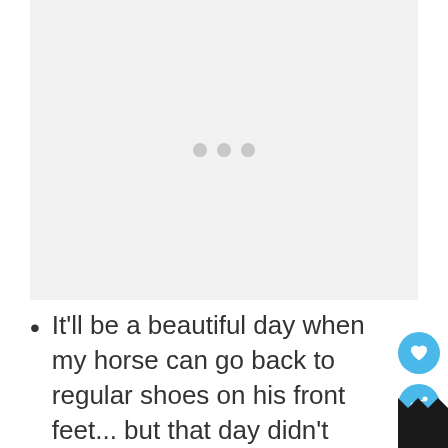[Figure (other): Loading placeholder with three grey dots centered in a light grey rectangle]
It'll be a beautiful day when my horse can go back to regular shoes on his front feet... but that day didn't come this month.